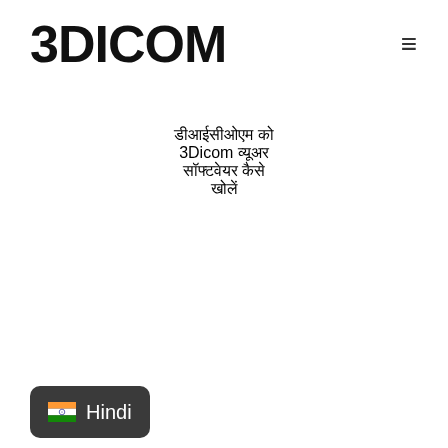3DICOM
डीआईसीओएम को 3Dicom व्यूअर सॉफ्टवेयर कैसे खोलें
Hindi